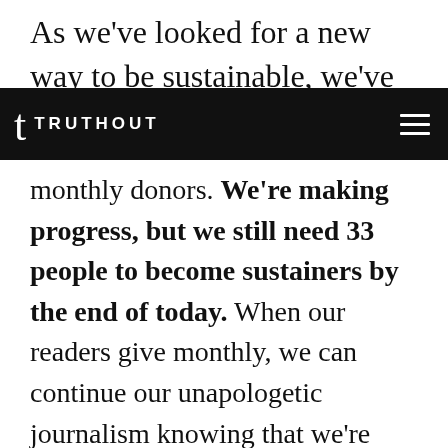As we've looked for a new way to be sustainable, we've determined that we must
t TRUTHOUT
monthly donors. We're making progress, but we still need 33 people to become sustainers by the end of today. When our readers give monthly, we can continue our unapologetic journalism knowing that we're answerable to our readers, not corporate sponsors or ad salespeople. And when you give monthly, you join a progressive community of folks who care deeply about truthful and uncompromising news